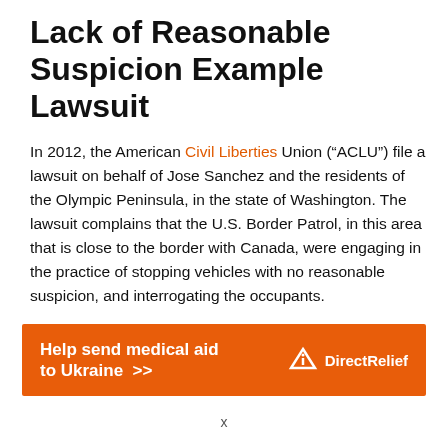Lack of Reasonable Suspicion Example Lawsuit
In 2012, the American Civil Liberties Union (“ACLU”) file a lawsuit on behalf of Jose Sanchez and the residents of the Olympic Peninsula, in the state of Washington. The lawsuit complains that the U.S. Border Patrol, in this area that is close to the border with Canada, were engaging in the practice of stopping vehicles with no reasonable suspicion, and interrogating the occupants.
Jose Sanchez, a correctional officer at the Olympic Corrections Center, was stopped in his vehicle by
[Figure (other): Advertisement banner: orange background with white text 'Help send medical aid to Ukraine >>' and Direct Relief logo on the right]